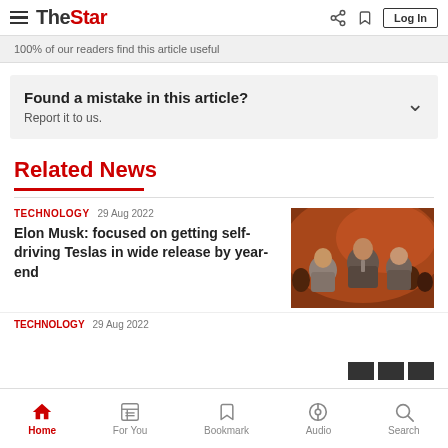The Star — hamburger menu, share, bookmark, Log In
100% of our readers find this article useful
Found a mistake in this article?
Report it to us.
Related News
TECHNOLOGY  29 Aug 2022
Elon Musk: focused on getting self-driving Teslas in wide release by year-end
[Figure (photo): Photo of Elon Musk at a crowded event, seated among audience members in formal attire, warm reddish-orange ambient lighting]
Home | For You | Bookmark | Audio | Search